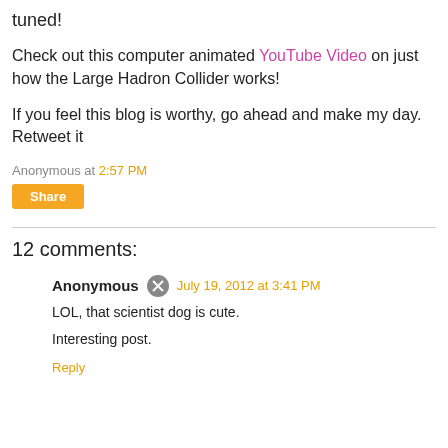tuned!
Check out this computer animated YouTube Video on just how the Large Hadron Collider works!
If you feel this blog is worthy, go ahead and make my day. Retweet it
Anonymous at 2:57 PM
Share
12 comments:
Anonymous  July 19, 2012 at 3:41 PM
LOL, that scientist dog is cute.
Interesting post.
Reply